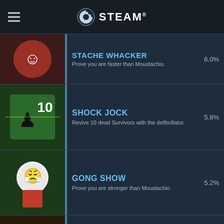STEAM
STACHE WHACKER — Prove you are faster than Moustachio. — 6.0%
SHOCK JOCK — Revive 10 dead Survivors with the defibrillator. — 5.8%
GONG SHOW — Prove you are stronger than Moustachio. — 5.2%
CACHE AND CARRY — Collect 15 gas cans in a single Scavenge round. — 5.0%
FAT NINJA — As the Boomer, vomit on a Survivor without having direct line of sight with them. — 4.8%